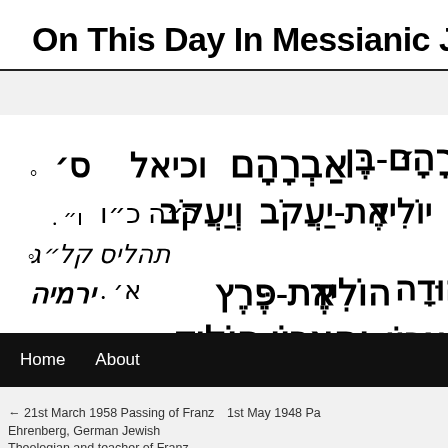On This Day In Messianic Jew
[Figure (photo): Hebrew text manuscript page showing biblical genealogy text in large Hebrew script characters on white background]
Home   About
← 21st March 1958 Passing of Franz Ehrenberg, German Jewish Theologian and teacher of Franz Rosenzweig   1st May 1948 Pa